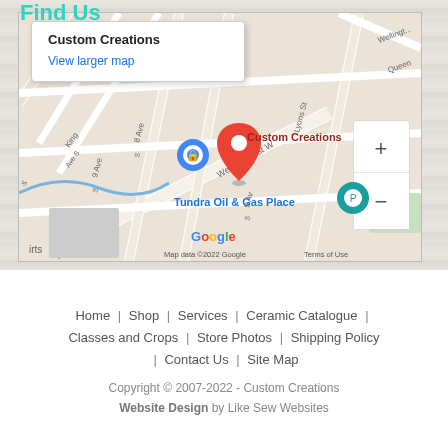Find Us
[Figure (map): Google Map showing Custom Creations location. A tooltip/info window displays 'Custom Creations' and 'View larger map'. Red pin marker labeled 'Custom Creations' and nearby 'Tundra Oil & Gas Place'. Map data ©2022 Google. Keyboard shortcuts. Terms of Use.]
Home  |  Shop  |  Services  |  Ceramic Catalogue  |  Classes and Crops  |  Store Photos  |  Shipping Policy  |  Contact Us  |  Site Map
Copyright © 2007-2022 - Custom Creations Website Design by Like Sew Websites